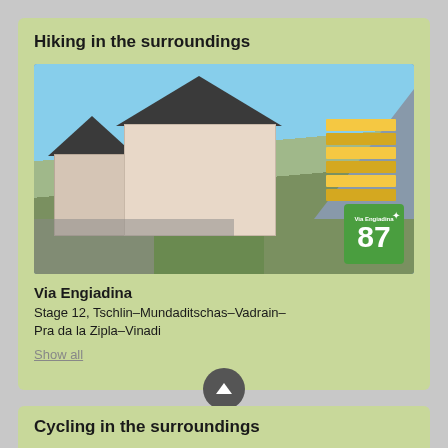Hiking in the surroundings
[Figure (photo): Photo of an Alpine building/guesthouse with directional hiking sign posts and mountains in the background. A green Via Engiadina route badge showing number 87 is visible in the lower right corner.]
Via Engiadina
Stage 12, Tschlin–Mundaditschas–Vadrain–Pra da la Zipla–Vinadi
Show all
Cycling in the surroundings